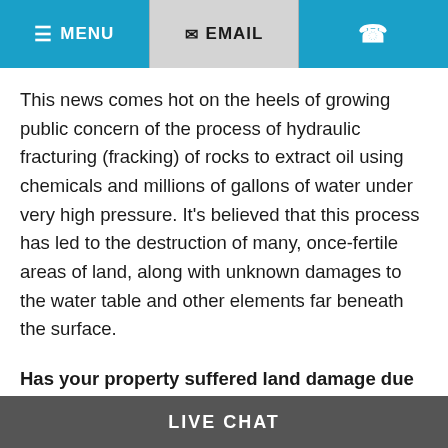MENU | EMAIL | (phone icon)
This news comes hot on the heels of growing public concern of the process of hydraulic fracturing (fracking) of rocks to extract oil using chemicals and millions of gallons of water under very high pressure. It's believed that this process has led to the destruction of many, once-fertile areas of land, along with unknown damages to the water table and other elements far beneath the surface.
Has your property suffered land damage due to the fracking of your land?
LIVE CHAT